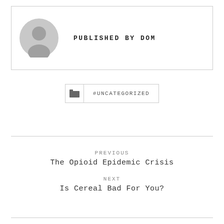[Figure (illustration): Gray placeholder avatar icon showing a person silhouette in a circle]
PUBLISHED BY DOM
#UNCATEGORIZED
PREVIOUS
The Opioid Epidemic Crisis
NEXT
Is Cereal Bad For You?